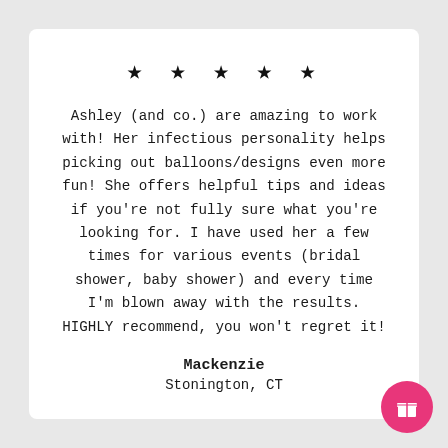[Figure (other): Five black star rating symbols]
Ashley (and co.) are amazing to work with! Her infectious personality helps picking out balloons/designs even more fun! She offers helpful tips and ideas if you're not fully sure what you're looking for. I have used her a few times for various events (bridal shower, baby shower) and every time I'm blown away with the results. HIGHLY recommend, you won't regret it!
Mackenzie
Stonington, CT